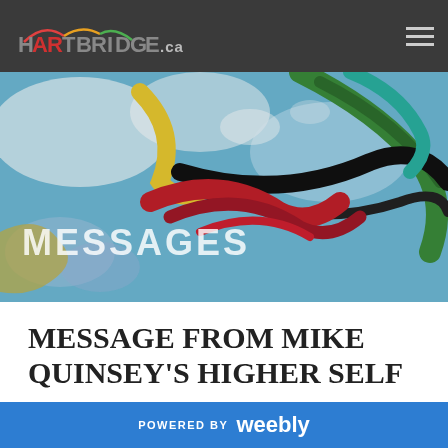HARTBRIDGE.ca
[Figure (illustration): Colorful abstract painting used as hero banner image with brushstrokes in blue, red, yellow, green, and black.]
MESSAGES
MESSAGE FROM MIKE QUINSEY'S HIGHER SELF
10/6/2016
0 Comments
POWERED BY weebly